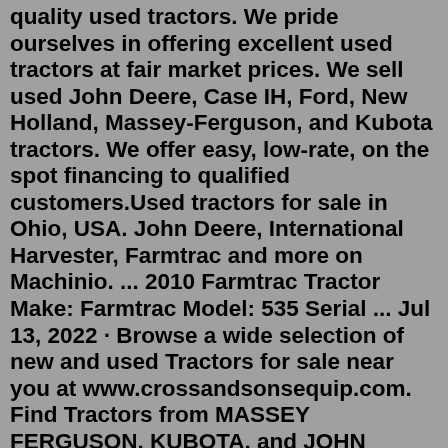quality used tractors. We pride ourselves in offering excellent used tractors at fair market prices. We sell used John Deere, Case IH, Ford, New Holland, Massey-Ferguson, and Kubota tractors. We offer easy, low-rate, on the spot financing to qualified customers.Used tractors for sale in Ohio, USA. John Deere, International Harvester, Farmtrac and more on Machinio. ... 2010 Farmtrac Tractor Make: Farmtrac Model: 535 Serial ... Jul 13, 2022 · Browse a wide selection of new and used Tractors for sale near you at www.crossandsonsequip.com. Find Tractors from MASSEY FERGUSON, KUBOTA, and JOHN DEERE, and more Jackson, OH (740) 286-1966 Search Careers Quaker City, OH 740.679.2141 Email Us 24821 Lashley Road Quaker City, OH 43773 St. Clairsville, OH 740.695.2141 Email Us 68135 Tinmar Drive St. Clairsville, OH 43950 Marietta, OH 740.374.4151 Email Us 3400 State Route 821 Marietta, OH 45750 Zanesville, OH 740.455.2141 Email Us 3348 Newark Road Zanesville, OH 43701 Site Hosted By...Randall Brothers Auctions specializes